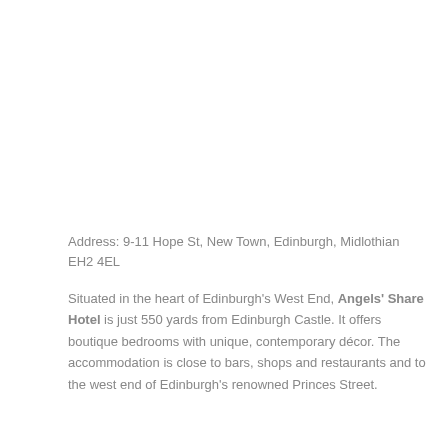Address: 9-11 Hope St, New Town, Edinburgh, Midlothian EH2 4EL
Situated in the heart of Edinburgh's West End, Angels' Share Hotel is just 550 yards from Edinburgh Castle. It offers boutique bedrooms with unique, contemporary décor. The accommodation is close to bars, shops and restaurants and to the west end of Edinburgh's renowned Princes Street.